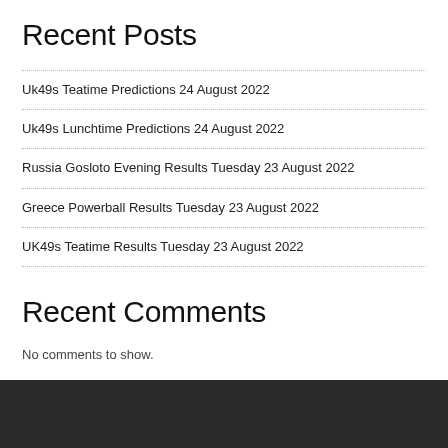Recent Posts
Uk49s Teatime Predictions 24 August 2022
Uk49s Lunchtime Predictions 24 August 2022
Russia Gosloto Evening Results Tuesday 23 August 2022
Greece Powerball Results Tuesday 23 August 2022
UK49s Teatime Results Tuesday 23 August 2022
Recent Comments
No comments to show.